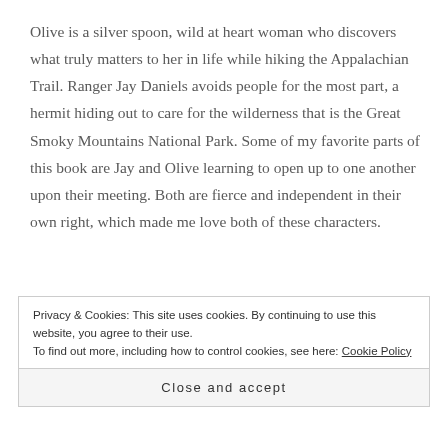Olive is a silver spoon, wild at heart woman who discovers what truly matters to her in life while hiking the Appalachian Trail. Ranger Jay Daniels avoids people for the most part, a hermit hiding out to care for the wilderness that is the Great Smoky Mountains National Park. Some of my favorite parts of this book are Jay and Olive learning to open up to one another upon their meeting. Both are fierce and independent in their own right, which made me love both of these characters.
Privacy & Cookies: This site uses cookies. By continuing to use this website, you agree to their use. To find out more, including how to control cookies, see here: Cookie Policy
Close and accept